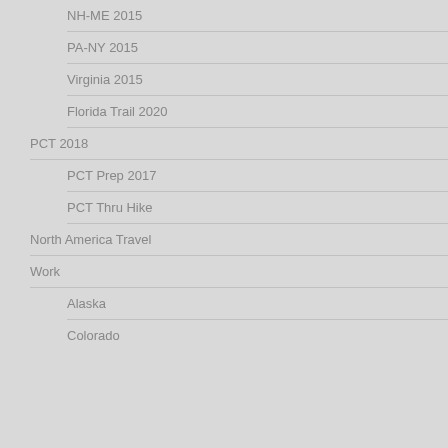NH-ME 2015
PA-NY 2015
Virginia 2015
Florida Trail 2020
PCT 2018
PCT Prep 2017
PCT Thru Hike
North America Travel
Work
Alaska
Colorado